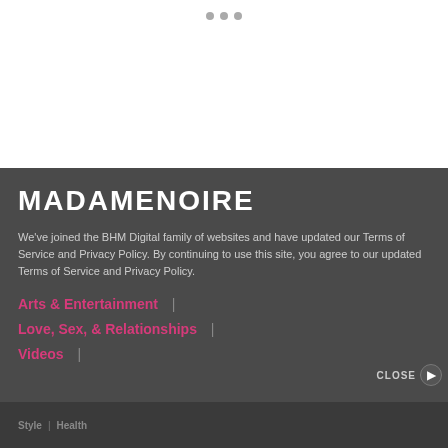[Figure (other): Three grey dots pagination indicator on white background]
MADAMENOIRE
We've joined the BHM Digital family of websites and have updated our Terms of Service and Privacy Policy. By continuing to use this site, you agree to our updated Terms of Service and Privacy Policy.
Arts & Entertainment  |
Love, Sex, & Relationships  |
Videos  |
CLOSE >